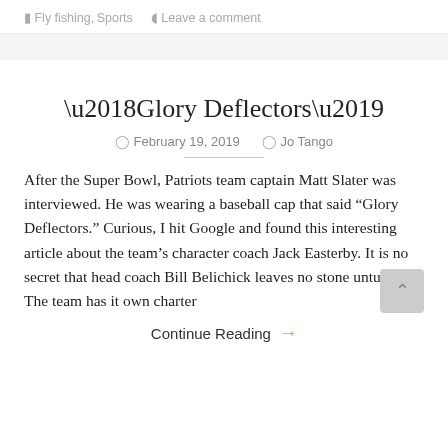Fly fishing, Sports  Leave a comment
‘Glory Deflectors’
February 19, 2019   Jo Tango
After the Super Bowl, Patriots team captain Matt Slater was interviewed. He was wearing a baseball cap that said “Glory Deflectors.” Curious, I hit Google and found this interesting article about the team’s character coach Jack Easterby. It is no secret that head coach Bill Belichick leaves no stone unturned. The team has it own charter
Continue Reading →